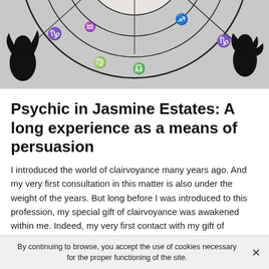[Figure (photo): Black and white astrology/zodiac wheel chart with zodiac symbols and constellations, close-up overhead view]
Psychic in Jasmine Estates: A long experience as a means of persuasion
I introduced the world of clairvoyance many years ago. And my very first consultation in this matter is also under the weight of the years. But long before I was introduced to this profession, my special gift of clairvoyance was awakened within me. Indeed, my very first contact with my gift of clairvoyance probably goes back to when I was younger.
By continuing to browse, you accept the use of cookies necessary for the proper functioning of the site.